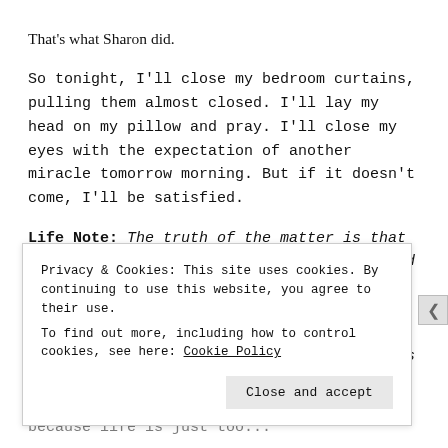That's what Sharon did.
So tonight, I'll close my bedroom curtains, pulling them almost closed. I'll lay my head on my pillow and pray. I'll close my eyes with the expectation of another miracle tomorrow morning. But if it doesn't come, I'll be satisfied.
Life Note: The truth of the matter is that not everyone is destined to live a long and productive life full of rich experiences and prolific contributions. But here's the deal—if we're alive, we've been given an extraordinary gift that's just too precious to squander. It doesn't [cut off]
Privacy & Cookies: This site uses cookies. By continuing to use this website, you agree to their use.
To find out more, including how to control cookies, see here: Cookie Policy
Close and accept